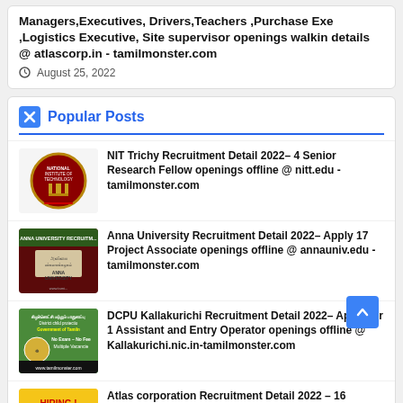Managers,Executives, Drivers,Teachers ,Purchase Exe ,Logistics Executive, Site supervisor openings walkin details @ atlascorp.in - tamilmonster.com
August 25, 2022
Popular Posts
NIT Trichy Recruitment Detail 2022– 4 Senior Research Fellow openings offline @ nitt.edu - tamilmonster.com
Anna University Recruitment Detail 2022– Apply 17 Project Associate openings offline @ annauniv.edu - tamilmonster.com
DCPU Kallakurichi Recruitment Detail 2022– Apply for 1 Assistant and Entry Operator openings offline @ Kallakurichi.nic.in-tamilmonster.com
Atlas corporation Recruitment Detail 2022 – 16